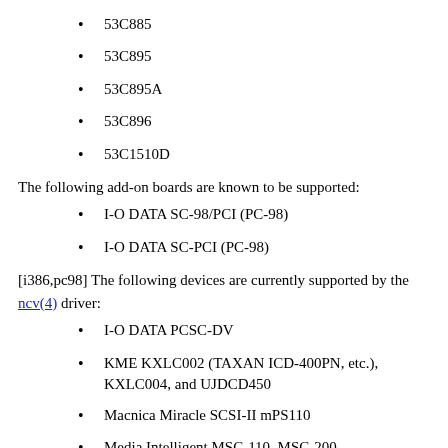53C885
53C895
53C895A
53C896
53C1510D
The following add-on boards are known to be supported:
I-O DATA SC-98/PCI (PC-98)
I-O DATA SC-PCI (PC-98)
[i386,pc98] The following devices are currently supported by the ncv(4) driver:
I-O DATA PCSC-DV
KME KXLC002 (TAXAN ICD-400PN, etc.), KXLC004, and UJDCD450
Macnica Miracle SCSI-II mPS110
Media Intelligent MSC-110, MSC-200
NEC PC-9801N-J03R